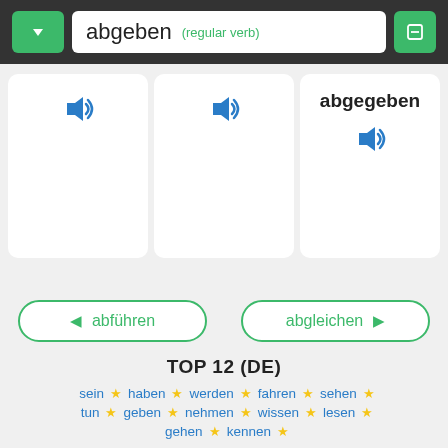abgeben (regular verb)
[Figure (screenshot): Three white card panels each with a speaker/audio icon; the rightmost card shows the word 'abgegeben' in bold with a speaker icon below it]
abführen
abgleichen
TOP 12 (DE)
sein ★ haben ★ werden ★ fahren ★ sehen ★
tun ★ geben ★ nehmen ★ wissen ★ lesen ★
gehen ★ kennen ★